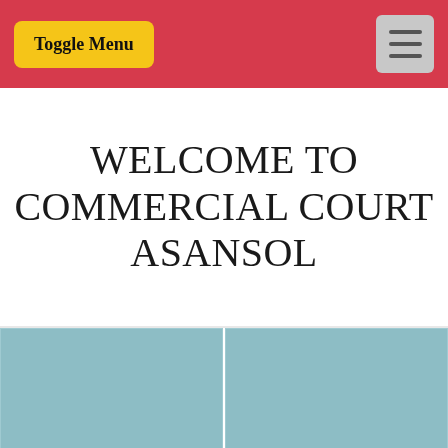Toggle Menu [hamburger icon]
WELCOME TO COMMERCIAL COURT ASANSOL
[Figure (photo): Two image placeholders side by side (teal/slate blue color blocks), top row of an image gallery]
[Figure (photo): One wide image placeholder (teal/slate blue color block), bottom row of an image gallery, partially visible]